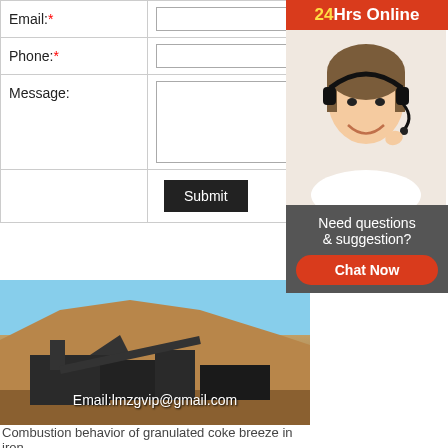| Field | Input |
| --- | --- |
| Email:* |  |
| Phone:* |  |
| Message: |  |
|  | Submit |
[Figure (infographic): 24Hrs Online chat widget with a woman wearing a headset, 'Need questions & suggestion?' text, and a red 'Chat Now' button]
[Figure (photo): Industrial site showing machinery and large pile of granulated coke/ore material, with overlay text 'Email:lmzgvip@gmail.com']
Combustion behavior of granulated coke breeze in iron